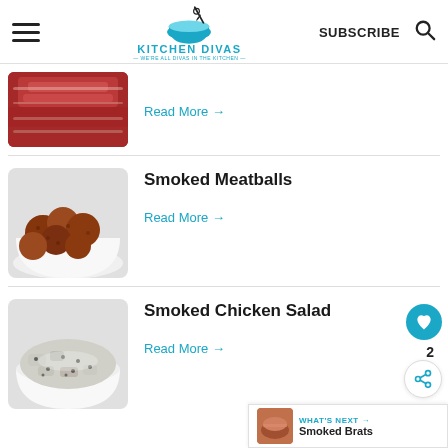Kitchen Divas — SUBSCRIBE
[Figure (photo): Partial image of sliced cooked meat (steak) at top of page]
Read More →
[Figure (photo): Bowl of smoked meatballs]
Smoked Meatballs
Read More →
[Figure (photo): Bowl of smoked chicken salad]
Smoked Chicken Salad
Read More →